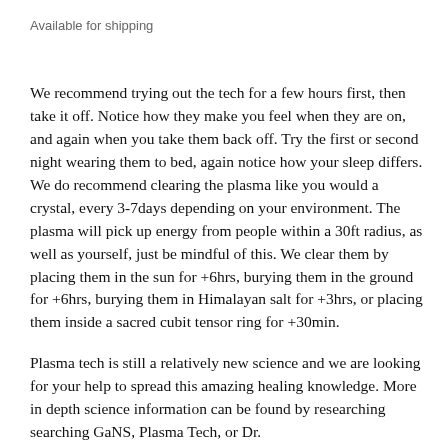Available for shipping
We recommend trying out the tech for a few hours first, then take it off.  Notice how they make you feel when they are on, and again when you take them back off.  Try the first or second night wearing them to bed, again notice how your sleep differs.  We do recommend clearing the plasma like you would a crystal, every 3-7days depending on your environment.  The plasma will pick up energy from people within a 30ft radius, as well as yourself, just be mindful of this.  We clear them by placing them in the sun for +6hrs, burying them in the ground for +6hrs, burying them in Himalayan salt for +3hrs, or placing them inside a sacred cubit tensor ring for +30min.
Plasma tech is still a relatively new science and we are looking for your help to spread this amazing healing knowledge.  More in depth science information can be found by researching searching GaNS, Plasma Tech, or Dr. KeShe Foundation.  This is all we can say as the product...